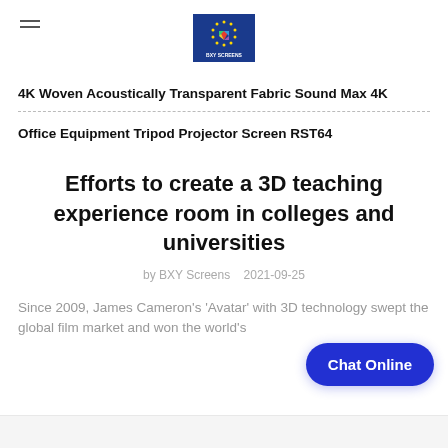BXY Screens logo
4K Woven Acoustically Transparent Fabric Sound Max 4K
Office Equipment Tripod Projector Screen RST64
Efforts to create a 3D teaching experience room in colleges and universities
by BXY Screens   2021-09-25
Since 2009, James Cameron's 'Avatar' with 3D technology swept the global film market and won the world's